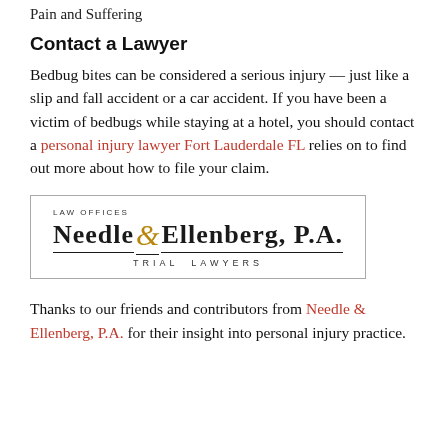Pain and Suffering
Contact a Lawyer
Bedbug bites can be considered a serious injury — just like a slip and fall accident or a car accident. If you have been a victim of bedbugs while staying at a hotel, you should contact a personal injury lawyer Fort Lauderdale FL relies on to find out more about how to file your claim.
[Figure (logo): Law Offices Needle & Ellenberg, P.A. Trial Lawyers logo in a rectangular border]
Thanks to our friends and contributors from Needle & Ellenberg, P.A. for their insight into personal injury practice.